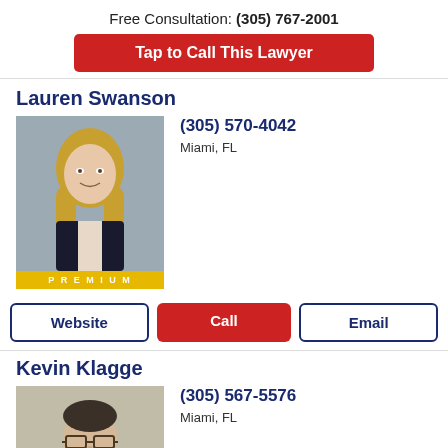Free Consultation: (305) 767-2001
Tap to Call This Lawyer
Lauren Swanson
[Figure (photo): Headshot of Lauren Swanson, a woman with long blonde hair wearing a dark blazer, labeled PREMIUM]
(305) 570-4042
Miami, FL
Website
Call
Email
Kevin Klagge
[Figure (photo): Headshot of Kevin Klagge, a man with glasses wearing a suit and tie, labeled PREMIUM]
(305) 567-5576
Miami, FL